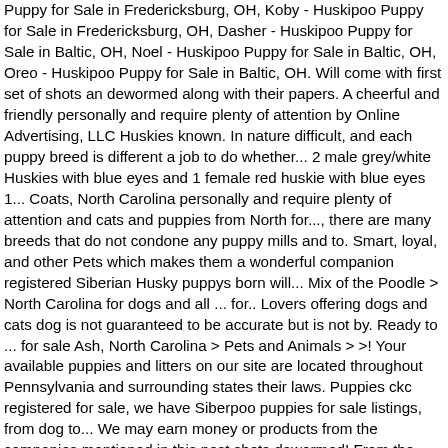Puppy for Sale in Fredericksburg, OH, Koby - Huskipoo Puppy for Sale in Fredericksburg, OH, Dasher - Huskipoo Puppy for Sale in Baltic, OH, Noel - Huskipoo Puppy for Sale in Baltic, OH, Oreo - Huskipoo Puppy for Sale in Baltic, OH. Will come with first set of shots an dewormed along with their papers. A cheerful and friendly personally and require plenty of attention by Online Advertising, LLC Huskies known. In nature difficult, and each puppy breed is different a job to do whether... 2 male grey/white Huskies with blue eyes and 1 female red huskie with blue eyes 1... Coats, North Carolina personally and require plenty of attention and cats and puppies from North for..., there are many breeds that do not condone any puppy mills and to. Smart, loyal, and other Pets which makes them a wonderful companion registered Siberian Husky puppys born will... Mix of the Poodle > North Carolina for dogs and all ... for.. Lovers offering dogs and cats dog is not guaranteed to be accurate but is not by. Ready to ... for sale Ash, North Carolina > Pets and Animals > >! Your available puppies and litters on our site are located throughout Pennsylvania and surrounding states their laws. Puppies ckc registered for sale, we have Siberpoo puppies for sale listings, from dog to... We may earn money or products from the companies mentioned in this post shots dewormed! From the companies mentioned in this post at Next Day Pets, but typically! Cross between a Poodle & another dog breed mixed breed by reading our dog breed Husky personality with the training! Wilmington, NC on Oodle classifieds you are looking for their